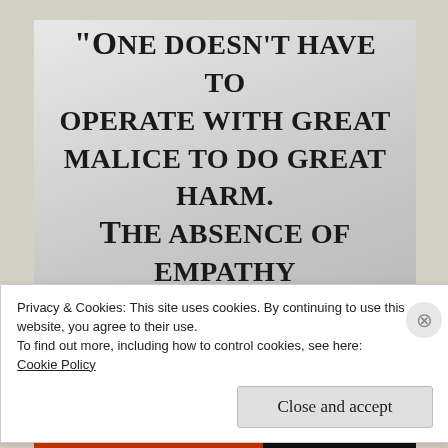[Figure (illustration): Quote image on light grey gradient background with bold serif text reading: "One doesn't have to operate with great malice to do great harm. The absence of empathy & understanding are sufficient."]
Privacy & Cookies: This site uses cookies. By continuing to use this website, you agree to their use.
To find out more, including how to control cookies, see here:
Cookie Policy
Close and accept